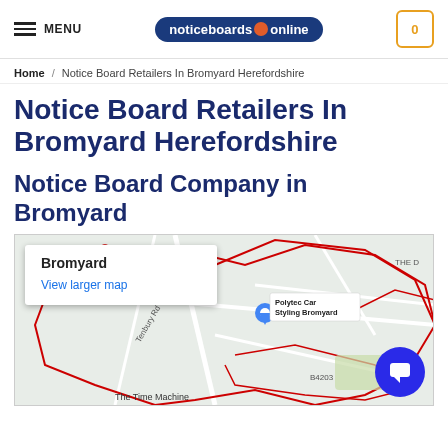MENU | noticeboards online | 0
Home / Notice Board Retailers In Bromyard Herefordshire
Notice Board Retailers In Bromyard Herefordshire
Notice Board Company in Bromyard
[Figure (map): Google map showing Bromyard area with red boundary outlines and a location pin for Polytec Car Styling Bromyard. Roads include Tenbury Rd and B4203. A white info box shows 'Bromyard' and 'View larger map' link. A blue chat button appears in the bottom right.]